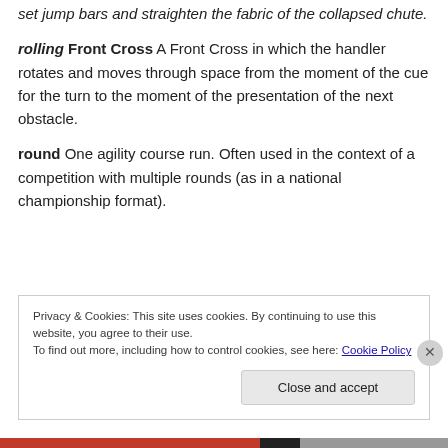set jump bars and straighten the fabric of the collapsed chute.
rolling Front Cross A Front Cross in which the handler rotates and moves through space from the moment of the cue for the turn to the moment of the presentation of the next obstacle.
round One agility course run. Often used in the context of a competition with multiple rounds (as in a national championship format).
Privacy & Cookies: This site uses cookies. By continuing to use this website, you agree to their use.
To find out more, including how to control cookies, see here: Cookie Policy
[Close and accept]